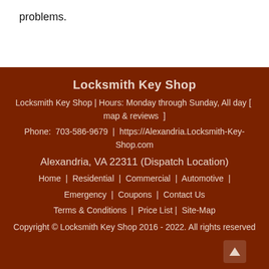problems.
Locksmith Key Shop
Locksmith Key Shop | Hours: Monday through Sunday, All day [ map & reviews ]
Phone: 703-586-9679 | https://Alexandria.Locksmith-Key-Shop.com
Alexandria, VA 22311 (Dispatch Location)
Home | Residential | Commercial | Automotive | Emergency | Coupons | Contact Us
Terms & Conditions | Price List | Site-Map
Copyright © Locksmith Key Shop 2016 - 2022. All rights reserved